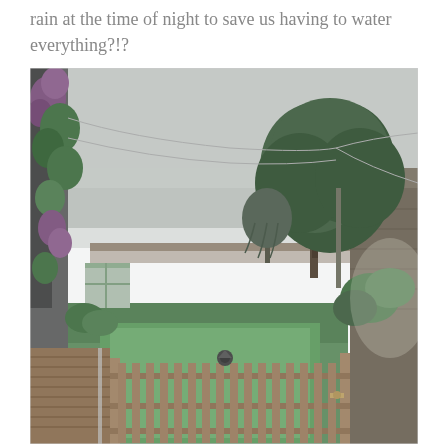rain at the time of night to save us having to water everything?!?
[Figure (photo): A rainy day garden scene viewed from a wooden decking/patio area. A wooden picket gate is in the foreground, a green lawn stretches to the middle distance, with a large tree visible behind garden fencing. There are climbing plants and flowers on the left side wall. A stone building is visible on the right. The sky is overcast and grey, suggesting rain. Washing lines are strung across the garden.]